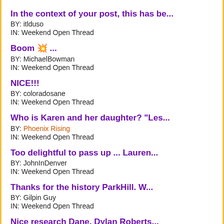In the context of your post, this has be...
BY: itlduso
IN: Weekend Open Thread
Boom 💥 ...
BY: MichaelBowman
IN: Weekend Open Thread
NICE!!!
BY: coloradosane
IN: Weekend Open Thread
Who is Karen and her daughter? "Les...
BY: Phoenix Rising
IN: Weekend Open Thread
Too delightful to pass up ... Lauren...
BY: JohnInDenver
IN: Weekend Open Thread
Thanks for the history ParkHill.  W...
BY: Gilpin Guy
IN: Weekend Open Thread
Nice research Dane.  Dylan Roberts...